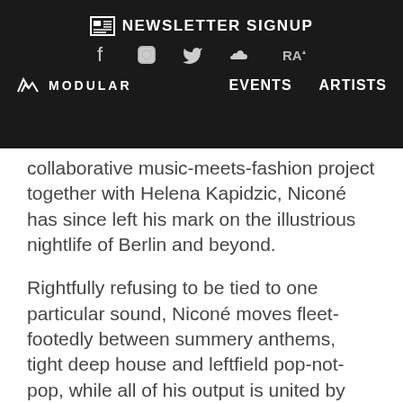NEWSLETTER SIGNUP | EVENTS | ARTISTS | MODULAR
collaborative music-meets-fashion project together with Helena Kapidzic, Niconé has since left his mark on the illustrious nightlife of Berlin and beyond.
Rightfully refusing to be tied to one particular sound, Niconé moves fleet-footedly between summery anthems, tight deep house and leftfield pop-not-pop, while all of his output is united by the fact that there's always a twist – Niconé is anything but boring, in other words. While tracks such as 'Una Rosa' (2008) and the Bar 25 hymn 'Nur mal kurz' (2009) led to well-deserved underground fame early on, the last years have proven particularly fruitful. In 2011, Niconé teamed up with his good friend and partner in crime Sascha Braemer to record their